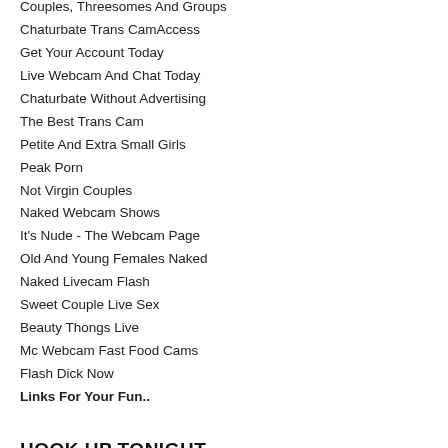Couples, Threesomes And Groups
Chaturbate Trans CamAccess
Get Your Account Today
Live Webcam And Chat Today
Chaturbate Without Advertising
The Best Trans Cam
Petite And Extra Small Girls
Peak Porn
Not Virgin Couples
Naked Webcam Shows
It's Nude - The Webcam Page
Old And Young Females Naked
Naked Livecam Flash
Sweet Couple Live Sex
Beauty Thongs Live
Mc Webcam Fast Food Cams
Flash Dick Now
Links For Your Fun..
HOOK UP TONIGHT